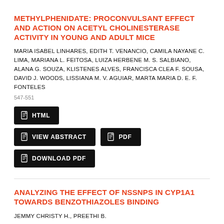METHYLPHENIDATE: PROCONVULSANT EFFECT AND ACTION ON ACETYL CHOLINESTERASE ACTIVITY IN YOUNG AND ADULT MICE
MARIA ISABEL LINHARES, EDITH T. VENANCIO, CAMILA NAYANE C. LIMA, MARIANA L. FEITOSA, LUIZA HERBENE M. S. SALBIANO, ALANA G. SOUZA, KLISTENES ALVES, FRANCISCA CLEA F. SOUSA, DAVID J. WOODS, LISSIANA M. V. AGUIAR, MARTA MARIA D. E. F. FONTELES
547-551
HTML
VIEW ABSTRACT
PDF
DOWNLOAD PDF
ANALYZING THE EFFECT OF NSSNPS IN CYP1A1 TOWARDS BENZOTHIAZOLES BINDING
JEMMY CHRISTY H., PREETHI B.
552-557